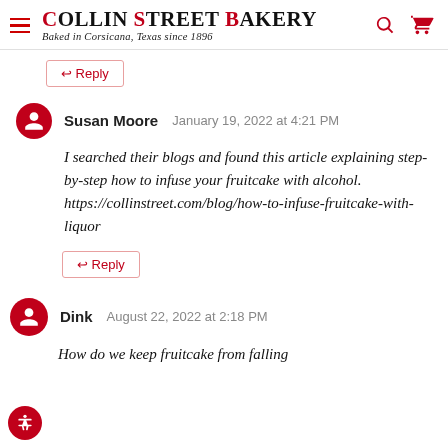[Figure (logo): Collin Street Bakery logo with hamburger menu icon, site name in red and black serif font, tagline 'Baked in Corsicana, Texas since 1896' in italic, and search/cart icons on the right]
↩ Reply
Susan Moore   January 19, 2022 at 4:21 PM
I searched their blogs and found this article explaining step-by-step how to infuse your fruitcake with alcohol. https://collinstreet.com/blog/how-to-infuse-fruitcake-with-liquor
↩ Reply
Dink   August 22, 2022 at 2:18 PM
How do we keep fruitcake from falling